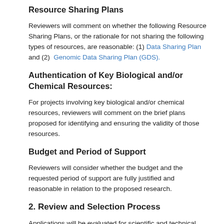Resource Sharing Plans
Reviewers will comment on whether the following Resource Sharing Plans, or the rationale for not sharing the following types of resources, are reasonable: (1) Data Sharing Plan and (2) Genomic Data Sharing Plan (GDS).
Authentication of Key Biological and/or Chemical Resources:
For projects involving key biological and/or chemical resources, reviewers will comment on the brief plans proposed for identifying and ensuring the validity of those resources.
Budget and Period of Support
Reviewers will consider whether the budget and the requested period of support are fully justified and reasonable in relation to the proposed research.
2. Review and Selection Process
Applications will be evaluated for scientific and technical merit by (an) appropriate Scientific Review Group(s) convened by NIA. in accordance with NIH peer review policy and procedures, using the standard peer review criteria listed below. Scientific Review Groups also consider the following criteria: